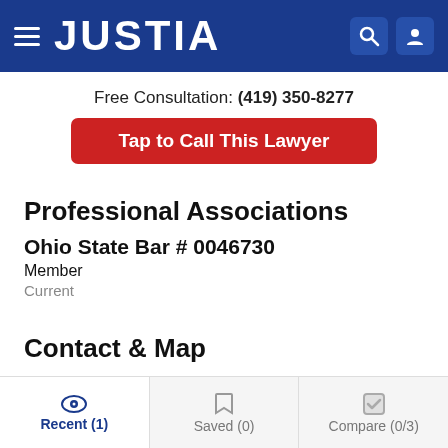JUSTIA
Free Consultation: (419) 350-8277
Tap to Call This Lawyer
Professional Associations
Ohio State Bar  # 0046730
Member
Current
Contact & Map
Recent (1)  Saved (0)  Compare (0/3)